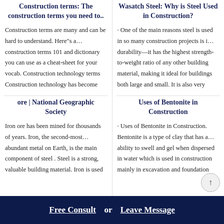Construction terms: The construction terms you need to..
Construction terms are many and can be hard to understand. Here"s a… construction terms 101 and dictionary you can use as a cheat-sheet for your vocab. Construction technology terms Construction technology has become
Wasatch Steel: Why is Steel Used in Construction?
· One of the main reasons steel is used in so many construction projects is i… durability—it has the highest strength-to-weight ratio of any other building material, making it ideal for buildings both large and small. It is also very
ore | National Geographic Society
Iron ore has been mined for thousands of years. Iron, the second-most… abundant metal on Earth, is the main component of steel . Steel is a strong, valuable building material. Iron is used
Uses of Bentonite in Construction
· Uses of Bentonite in Construction. Bentonite is a type of clay that has a… ability to swell and gel when dispersed in water which is used in construction mainly in excavation and foundation
Free Consult  or  Leave Message